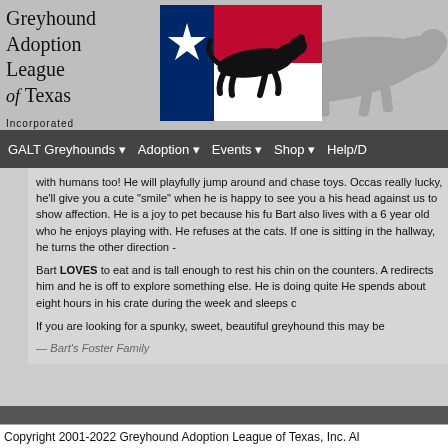Greyhound Adoption League of Texas Incorporated
[Figure (logo): Texas flag with black greyhound silhouette running across it — logo of Greyhound Adoption League of Texas]
[Figure (illustration): Faint greyhound watermark silhouette in gray in the upper right background]
GALT Greyhounds ▾  Adoption ▾  Events ▾  Shop ▾  Help/D
with humans too! He will playfully jump around and chase toys. Occas really lucky, he'll give you a cute "smile" when he is happy to see you a his head against us to show affection. He is a joy to pet because his fu Bart also lives with a 6 year old who he enjoys playing with. He refuses at the cats. If one is sitting in the hallway, he turns the other direction -
Bart LOVES to eat and is tall enough to rest his chin on the counters. A redirects him and he is off to explore something else. He is doing quite He spends about eight hours in his crate during the week and sleeps c
If you are looking for a spunky, sweet, beautiful greyhound this may be
— Bart's Foster Family
Copyright 2001-2022 Greyhound Adoption League of Texas, Inc. Al